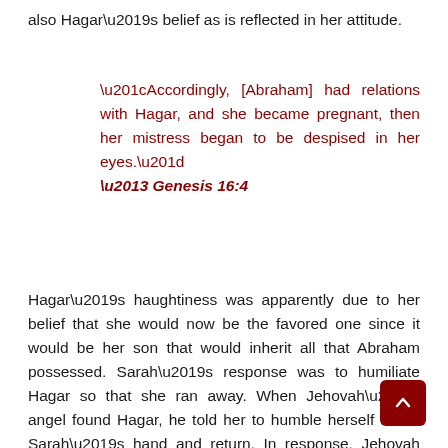also Hagar's belief as is reflected in her attitude.
“Accordingly, [Abraham] had relations with Hagar, and she became pregnant, then her mistress began to be despised in her eyes.”
– Genesis 16:4
Hagar’s haughtiness was apparently due to her belief that she would now be the favored one since it would be her son that would inherit all that Abraham possessed. Sarah’s response was to humiliate Hagar so that she ran away. When Jehovah’s angel found Hagar, he told her to humble herself under Sarah’s hand and return. In response, Jehovah would greatly multip[ly] her seed into a great multitude. Hagar did